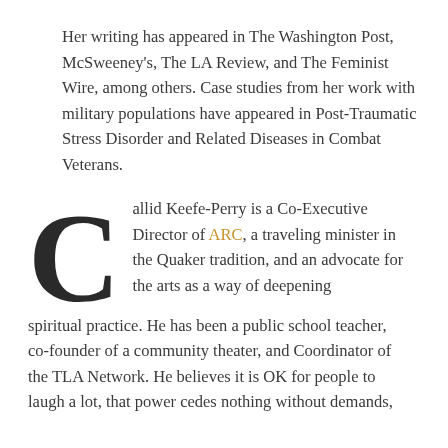Her writing has appeared in The Washington Post, McSweeney's, The LA Review, and The Feminist Wire, among others. Case studies from her work with military populations have appeared in Post-Traumatic Stress Disorder and Related Diseases in Combat Veterans.
Callid Keefe-Perry is a Co-Executive Director of ARC, a traveling minister in the Quaker tradition, and an advocate for the arts as a way of deepening spiritual practice. He has been a public school teacher, co-founder of a community theater, and Coordinator of the TLA Network. He believes it is OK for people to laugh a lot, that power cedes nothing without demands,